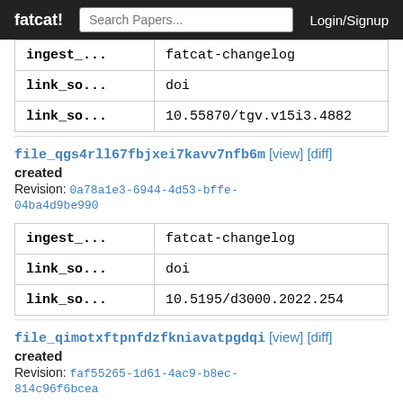fatcat!   Search Papers...   Login/Signup
| ingest_... | fatcat-changelog |
| --- | --- |
| ingest_... | fatcat-changelog |
| link_so... | doi |
| link_so... | 10.55870/tgv.v15i3.4882 |
file_qgs4rll67fbjxei7kavv7nfb6m [view] [diff]
created
Revision: 0a78a1e3-6944-4d53-bffe-04ba4d9be990
| ingest_... | fatcat-changelog |
| --- | --- |
| ingest_... | fatcat-changelog |
| link_so... | doi |
| link_so... | 10.5195/d3000.2022.254 |
file_qimotxftpnfdzfkniavatpgdqi [view] [diff]
created
Revision: faf55265-1d61-4ac9-b8ec-814c96f6bcea